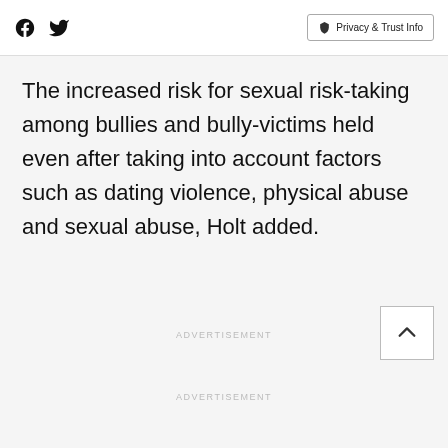Facebook | Twitter | Privacy & Trust Info
The increased risk for sexual risk-taking among bullies and bully-victims held even after taking into account factors such as dating violence, physical abuse and sexual abuse, Holt added.
ADVERTISEMENT
ADVERTISEMENT